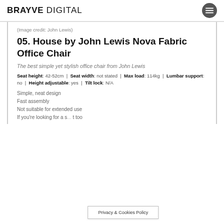BRAYVE DIGITAL
(Image credit: John Lewis)
05. House by John Lewis Nova Fabric Office Chair
The best simple yet stylish office chair from John Lewis
Seat height: 42-52cm | Seat width: not stated | Max load: 114kg | Lumbar support: no | Height adjustable: yes | Tilt lock: N/A
Simple, neat design
Fast assembly
Not suitable for extended use
If you're looking for a s... t too
Privacy & Cookies Policy